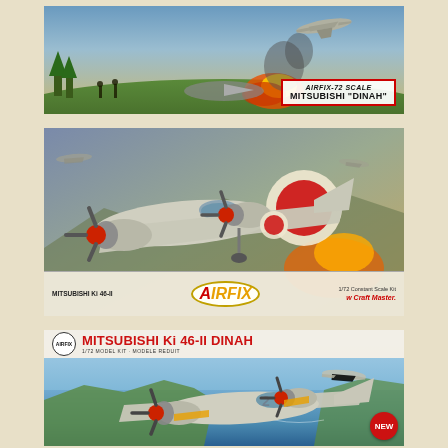[Figure (illustration): Airfix 72 Scale Mitsubishi 'DINAH' model kit box art showing WWII aircraft scene with explosions and fighting planes on ground. White label with italic text 'AIRFIX-72 SCALE' and bold 'MITSUBISHI "DINAH"'.]
[Figure (illustration): Airfix 1/72 Constant Scale Kit Mitsubishi Ki 46-II model kit box art showing close-up of Japanese twin-engine aircraft with red propeller spinners and rising sun markings. Bottom bar shows Airfix logo in yellow/orange italic with red arrow A, text 'MITSUBISHI Ki 46-II' and 'w Craft Master'.]
[Figure (illustration): Airfix Mitsubishi Ki 46-II Dinah 1/72 Model Kit box art (newer edition marked NEW) showing Japanese aircraft over water/coastal scene. Top bar has Airfix badge logo, red bold title 'MITSUBISHI Ki 46-II DINAH', subtitle '1/72 MODEL KIT - MODELE REDUIT'. Red 'NEW' badge in bottom right corner.]